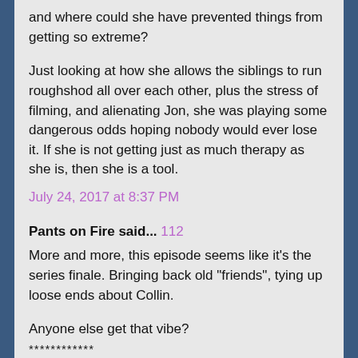and where could she have prevented things from getting so extreme?
Just looking at how she allows the siblings to run roughshod all over each other, plus the stress of filming, and alienating Jon, she was playing some dangerous odds hoping nobody would ever lose it. If she is not getting just as much therapy as she is, then she is a tool.
July 24, 2017 at 8:37 PM
Pants on Fire said... 112
More and more, this episode seems like it's the series finale. Bringing back old "friends", tying up loose ends about Collin.
Anyone else get that vibe?
************
Absolutely.
In addition, at the very end Khate put in a desperate